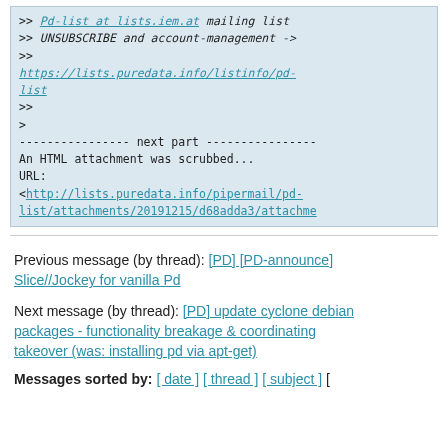>> Pd-list at lists.iem.at mailing list
>> UNSUBSCRIBE and account-management ->
>>
https://lists.puredata.info/listinfo/pd-list
>>
>
---------------- next part ----------------
An HTML attachment was scrubbed...
URL:
<http://lists.puredata.info/pipermail/pd-list/attachments/20191215/d68adda3/attachme
Previous message (by thread): [PD] [PD-announce] Slice//Jockey for vanilla Pd
Next message (by thread): [PD] update cyclone debian packages - functionality breakage & coordinating takeover (was: installing pd via apt-get)
Messages sorted by: [ date ] [ thread ] [ subject ] [